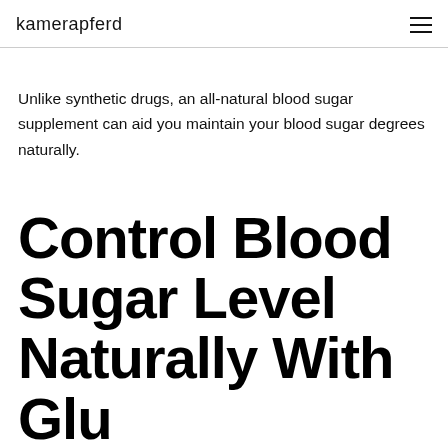kamerapferd
Unlike synthetic drugs, an all-natural blood sugar supplement can aid you maintain your blood sugar degrees naturally.
Control Blood Sugar Level Naturally With Glucfort